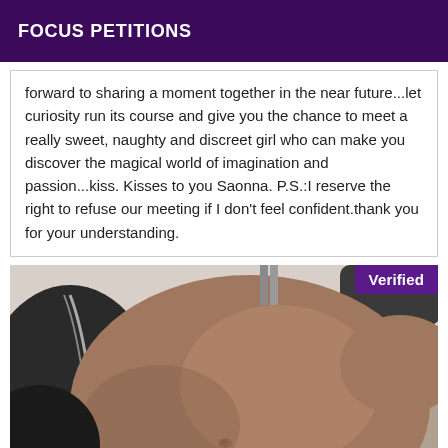FOCUS PETITIONS
forward to sharing a moment together in the near future...let curiosity run its course and give you the chance to meet a really sweet, naughty and discreet girl who can make you discover the magical world of imagination and passion...kiss. Kisses to you Saonna. P.S.:I reserve the right to refuse our meeting if I don't feel confident.thank you for your understanding.
[Figure (photo): Close-up photo of a person's torso/midsection showing bare skin, with dark clothing visible. A 'Verified' badge appears in the top-right corner of the image.]